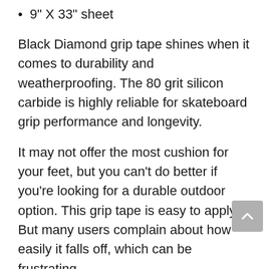9" X 33" sheet
Black Diamond grip tape shines when it comes to durability and weatherproofing. The 80 grit silicon carbide is highly reliable for skateboard grip performance and longevity.
It may not offer the most cushion for your feet, but you can’t do better if you’re looking for a durable outdoor option. This grip tape is easy to apply. But many users complain about how easily it falls off, which can be frustrating.
Black Diamond tape does have its weak points, though; it tends to wear out at the bottom of your foot as well as where you place